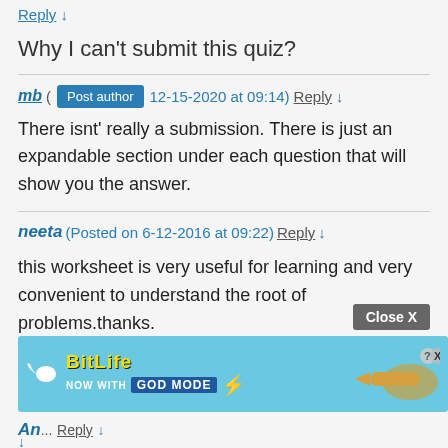Reply ↓
Why I can't submit this quiz?
mb (Post author 12-15-2020 at 09:14) Reply ↓
There isnt' really a submission. There is just an expandable section under each question that will show you the answer.
neeta (Posted on 6-12-2016 at 09:22) Reply ↓
this worksheet is very useful for learning and very convenient to understand the root of problems.thanks.
Close X
[Figure (screenshot): BitLife advertisement banner with 'NOW WITH GOD MODE' text and pointing hand graphic]
An... Reply ↓